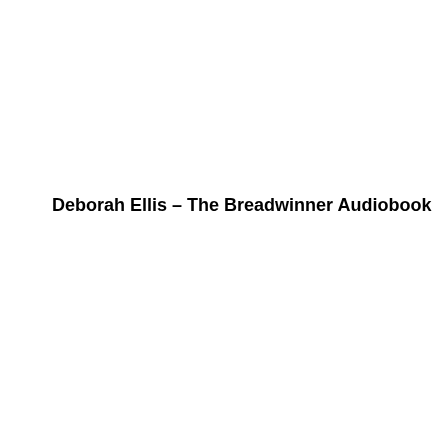Deborah Ellis – The Breadwinner Audiobook